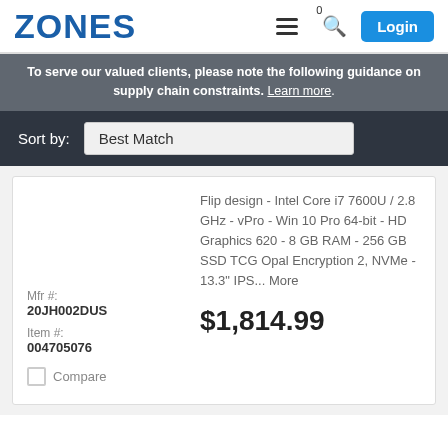ZONES
To serve our valued clients, please note the following guidance on supply chain constraints. Learn more.
Sort by: Best Match
Mfr #: 20JH002DUS
Item #: 004705076
Flip design - Intel Core i7 7600U / 2.8 GHz - vPro - Win 10 Pro 64-bit - HD Graphics 620 - 8 GB RAM - 256 GB SSD TCG Opal Encryption 2, NVMe - 13.3" IPS... More
Compare
$1,814.99